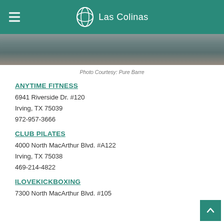Las Colinas
[Figure (photo): Cropped fitness photo showing person exercising, partial view of legs and equipment]
Photo Courtesy: Pure Barre
ANYTIME FITNESS
6941 Riverside Dr. #120
Irving, TX 75039
972-957-3666
CLUB PILATES
4000 North MacArthur Blvd. #A122
Irving, TX 75038
469-214-4822
ILOVEKICKBOXING
7300 North MacArthur Blvd. #105